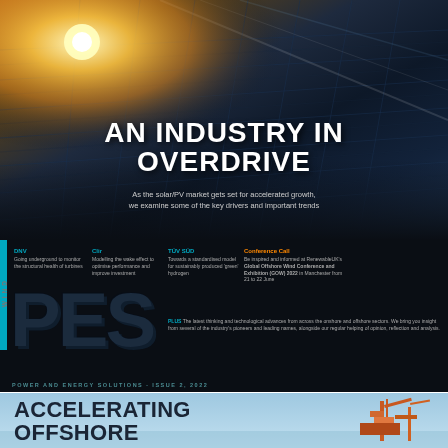[Figure (photo): Solar photovoltaic panels under bright sunlight, perspective view with sun glare in top-left corner, dark blue and orange tones]
AN INDUSTRY IN OVERDRIVE
As the solar/PV market gets set for accelerated growth, we examine some of the key drivers and important trends
DNV
Going underground to monitor the structural health of turbines
Clir
Modelling the wake effect to optimise performance and improve investment
TÜV SÜD
Towards a standardised model for sustainably produced 'green' hydrogen
Conference Call
Be inspired and informed at RenewableUK's Global Offshore Wind Conference and Exhibition (GOW) 2022 in Manchester from 21 to 22 June
PLUS The latest thinking and technological advances from across the onshore and offshore sectors. We bring you insight from several of the industry's pioneers and leading names, alongside our regular helping of opinion, reflection and analysis.
[Figure (logo): PES Wind Power and Energy Solutions magazine logo in large dark letters]
POWER AND ENERGY SOLUTIONS · ISSUE 2, 2022
ACCELERATING OFFSHORE